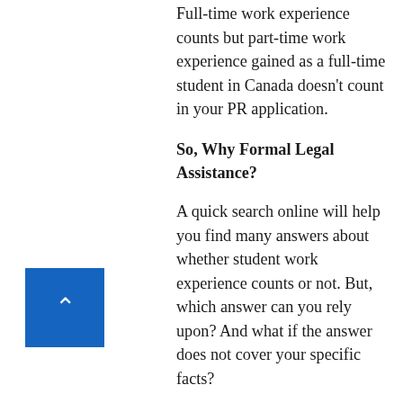Full-time work experience counts but part-time work experience gained as a full-time student in Canada doesn't count in your PR application.
So, Why Formal Legal Assistance?
A quick search online will help you find many answers about whether student work experience counts or not. But, which answer can you rely upon? And what if the answer does not cover your specific facts?
And this is just one query about one aspect of your FSWP eligibility and EE profile. Things don't matter if you are comfortable with guesswork. But if you are serious about Canadian work permit or PR, then you cannot afford to have so